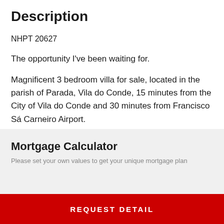Description
NHPT 20627
The opportunity I've been waiting for.
Magnificent 3 bedroom villa for sale, located in the parish of Parada, Vila do Conde, 15 minutes from the City of Vila do Conde and 30 minutes from Francisco Sá Carneiro Airport.
VIEW MORE ▾
Mortgage Calculator
Please set your own values to get your unique mortgage plan
REQUEST DETAIL